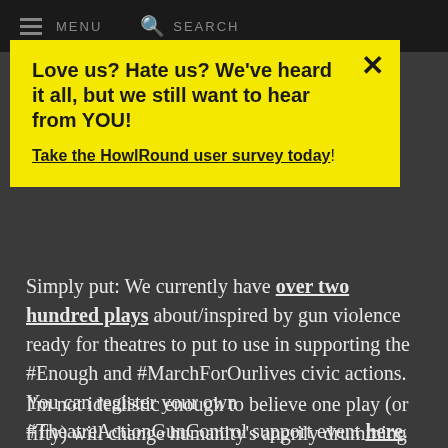MENU   SEARCH
Love us? Hate us? We've heard it all, but we still want to hear from YOU!
Take the HowlRound user survey today!
Simply put: We currently have over two hundred plays about/inspired by gun violence ready for theatres to put to use in supporting the #Enough and #MarchForOurlives civic actions. You can register your own #TheatreActionGunControl support event here.
I'm not idealistic enough to believe one play (or fifty) will change humanity's angrily drumming heart, but I am realistic